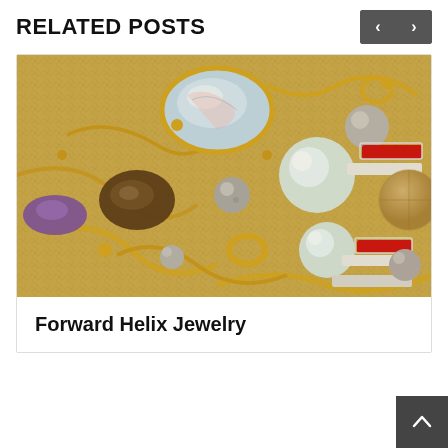RELATED POSTS
[Figure (photo): Close-up photograph of assorted gold jewelry including pearl pendants, gemstone rings, crystal gems, gold chains, and red enamel bar brooches on a golden mesh fabric background.]
Forward Helix Jewelry